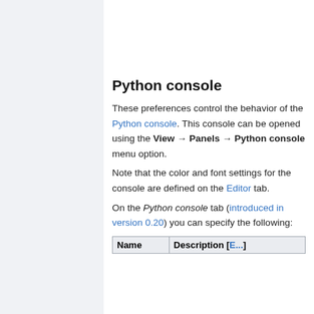Python error
Current line highlight
Python console
These preferences control the behavior of the Python console. This console can be opened using the View → Panels → Python console menu option.
Note that the color and font settings for the console are defined on the Editor tab.
On the Python console tab (introduced in version 0.20) you can specify the following:
| Name | Description [E...] |
| --- | --- |